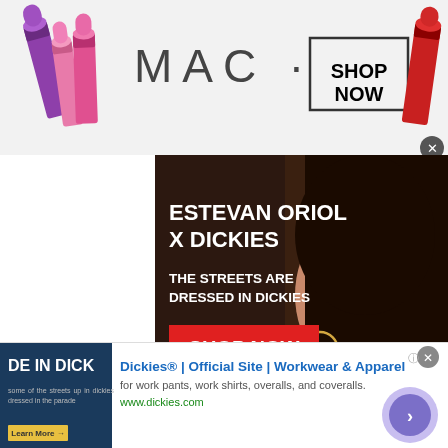[Figure (screenshot): MAC cosmetics advertisement banner with colorful lipsticks on the left, MAC logo in center, and SHOP NOW button in a bordered box. Red lipstick on the right. Close button top right.]
[Figure (screenshot): Dickies advertisement: dark background with a woman wearing Dickies. Text: ESTEVAN ORIOL X DICKIES, THE STREETS ARE DRESSED IN DICKIES, red SHOP NOW button.]
Is Canning and Bundy enough for the Angels to stand pat with their rotation? It is not. Castillo would change the game for manager Joe Maddon's ballclub.
Castillo is an ace and one of the brightest young stars in the
[Figure (screenshot): Dickies bottom advertisement banner: thumbnail image with text 'DE IN DICK' on dark blue background. Ad text: Dickies® | Official Site | Workwear & Apparel, for work pants, work shirts, overalls, and coveralls. www.dickies.com. Blue circle arrow button on right.]